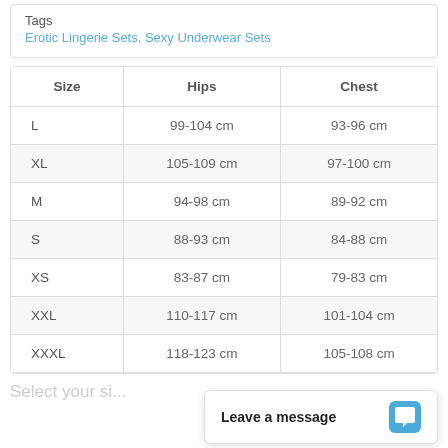Tags
Erotic Lingerie Sets, Sexy Underwear Sets
| Size | Hips | Chest |
| --- | --- | --- |
| L | 99-104 cm | 93-96 cm |
| XL | 105-109 cm | 97-100 cm |
| M | 94-98 cm | 89-92 cm |
| S | 88-93 cm | 84-88 cm |
| XS | 83-87 cm | 79-83 cm |
| XXL | 110-117 cm | 101-104 cm |
| XXXL | 118-123 cm | 105-108 cm |
Select your si...
Leave a message